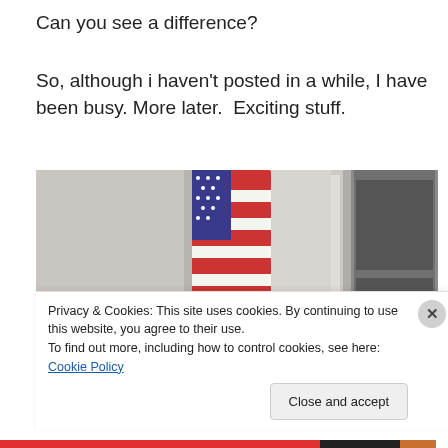Can you see a difference?
So, although i haven't posted in a while, I have been busy. More later.  Exciting stuff.
[Figure (photo): Photograph showing an American flag and a framed plaque on a light-colored wall, with a door frame visible on the right side.]
Privacy & Cookies: This site uses cookies. By continuing to use this website, you agree to their use.
To find out more, including how to control cookies, see here: Cookie Policy
Close and accept